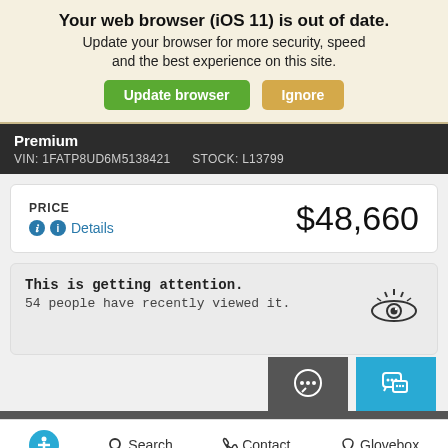Your web browser (iOS 11) is out of date. Update your browser for more security, speed and the best experience on this site. Update browser | Ignore
Premium
VIN: 1FATP8UD6M5138421    STOCK: L13799
PRICE    $48,660
ⓘ Details
This is getting attention.
54 people have recently viewed it.
Search   Contact   Glovebox